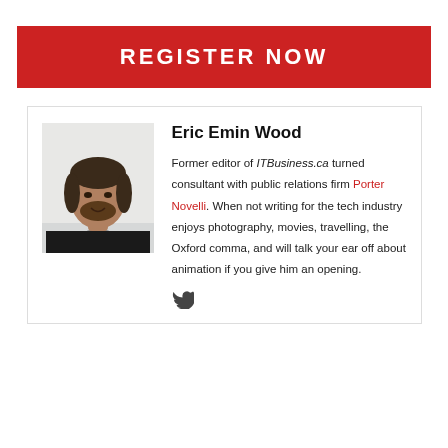REGISTER NOW
[Figure (photo): Headshot photo of Eric Emin Wood, a man with dark hair and beard wearing a black shirt, against a light background]
Eric Emin Wood
Former editor of ITBusiness.ca turned consultant with public relations firm Porter Novelli. When not writing for the tech industry enjoys photography, movies, travelling, the Oxford comma, and will talk your ear off about animation if you give him an opening.
[Figure (logo): Twitter bird icon]